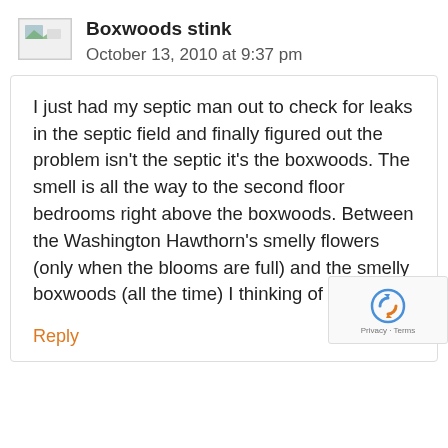Boxwoods stink
October 13, 2010 at 9:37 pm
I just had my septic man out to check for leaks in the septic field and finally figured out the problem isn't the septic it's the boxwoods. The smell is all the way to the second floor bedrooms right above the boxwoods. Between the Washington Hawthorn's smelly flowers (only when the blooms are full) and the smelly boxwoods (all the time) I thinking of all lawn.
Reply